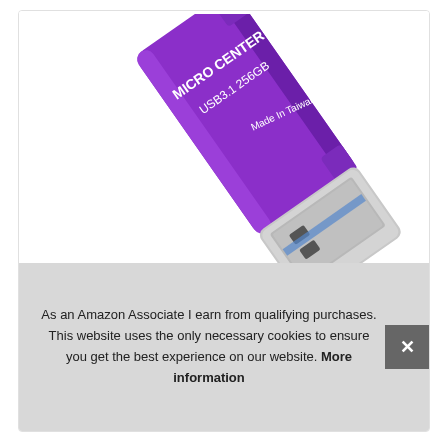[Figure (photo): A purple Micro Center USB 3.1 256GB flash drive shown at an angle, with a silver USB connector visible. Text on the drive reads: MICRO CENTER, USB3.1 256GB, Made In Taiwan.]
As an Amazon Associate I earn from qualifying purchases. This website uses the only necessary cookies to ensure you get the best experience on our website. More information